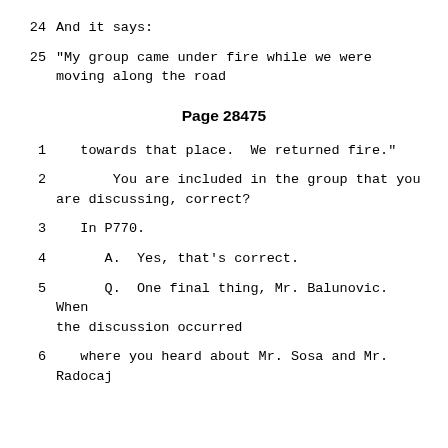24    And it says:
25    "My group came under fire while we were moving along the road
Page 28475
1    towards that place.  We returned fire."
2    You are included in the group that you are discussing, correct?
3    In P770.
4    A.  Yes, that's correct.
5    Q.  One final thing, Mr. Balunovic.  When the discussion occurred
6    where you heard about Mr. Sosa and Mr. Radocaj